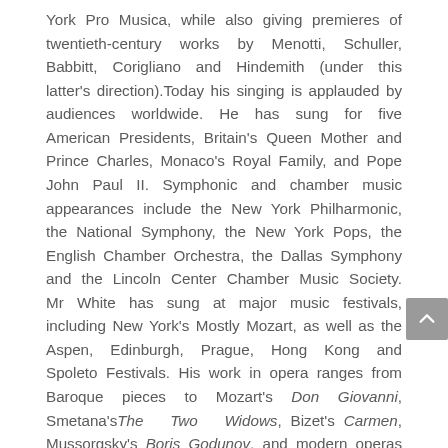York Pro Musica, while also giving premieres of twentieth-century works by Menotti, Schuller, Babbitt, Corigliano and Hindemith (under this latter's direction).Today his singing is applauded by audiences worldwide. He has sung for five American Presidents, Britain's Queen Mother and Prince Charles, Monaco's Royal Family, and Pope John Paul II. Symphonic and chamber music appearances include the New York Philharmonic, the National Symphony, the New York Pops, the English Chamber Orchestra, the Dallas Symphony and the Lincoln Center Chamber Music Society. Mr White has sung at major music festivals, including New York's Mostly Mozart, as well as the Aspen, Edinburgh, Prague, Hong Kong and Spoleto Festivals. His work in opera ranges from Baroque pieces to Mozart's Don Giovanni, Smetana's The Two Widows, Bizet's Carmen, Mussorgsky's Boris Godunov, and modern operas such as Hindemith's The Long Christmas Dinner, and